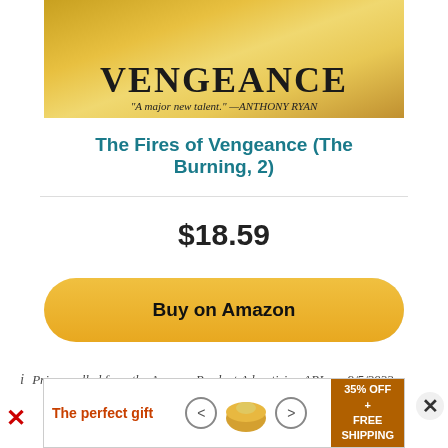[Figure (illustration): Top portion of a book cover for 'The Fires of Vengeance' with golden/orange tones, bold title 'VENGEANCE' visible, and quote 'A major new talent.' — ANTHONY RYAN]
The Fires of Vengeance (The Burning, 2)
$18.59
Buy on Amazon
PRIME eligible
Prices pulled from the Amazon Product Advertising API on: 9/5/2022 2:23 AM
[Figure (photo): Advertisement banner: 'The perfect gift' with food product images, navigation arrows, and '35% OFF + FREE SHIPPING' offer]